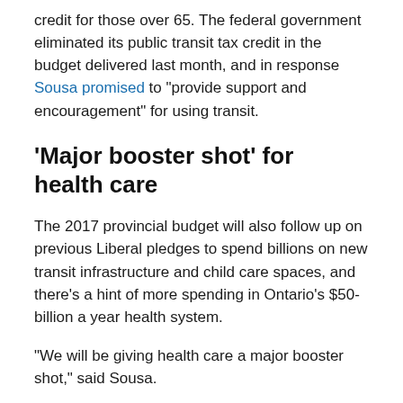credit for those over 65. The federal government eliminated its public transit tax credit in the budget delivered last month, and in response Sousa promised to "provide support and encouragement" for using transit.
'Major booster shot' for health care
The 2017 provincial budget will also follow up on previous Liberal pledges to spend billions on new transit infrastructure and child care spaces, and there's a hint of more spending in Ontario's $50-billion a year health system.
"We will be giving health care a major booster shot," said Sousa.